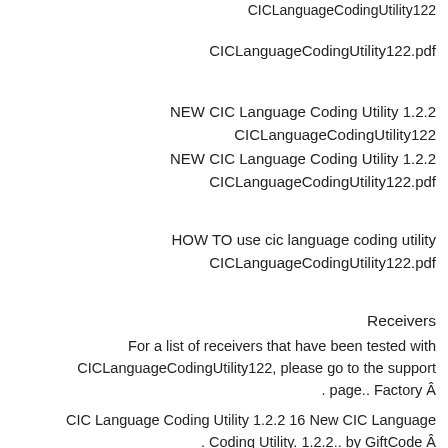CICLanguageCodingUtility122
CICLanguageCodingUtility122.pdf
NEW CIC Language Coding Utility 1.2.2
CICLanguageCodingUtility122
NEW CIC Language Coding Utility 1.2.2
CICLanguageCodingUtility122.pdf
HOW TO use cic language coding utility
CICLanguageCodingUtility122.pdf
Receivers
For a list of receivers that have been tested with CICLanguageCodingUtility122, please go to the support . page.. Factory Â
CIC Language Coding Utility 1.2.2 16 New CIC Language . Coding Utility. 1.2.2.. by GiftCode Â